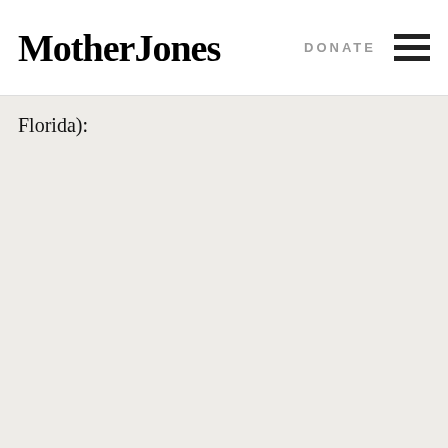Mother Jones | DONATE
Florida):